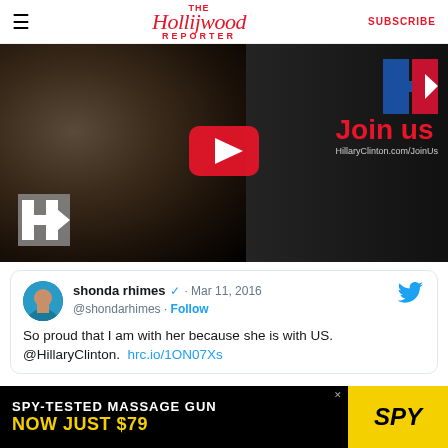The Hollywood Reporter | SUBSCRIBE
[Figure (screenshot): Video thumbnail showing Hillary Clinton campaign video with YouTube play button, 'Join us' text in red, HillaryClinton.com/JoinUs URL, and H campaign logo]
[Figure (screenshot): Tweet from shonda rhimes (@shondarhimes) verified account, Mar 11, 2016: 'So proud that I am with her because she is with US. @HillaryClinton. hrc.io/1ON07Xs']
[Figure (screenshot): Advertisement banner: SPY-TESTED MASSAGE GUN NOW JUST $79 with SPY logo on yellow background]